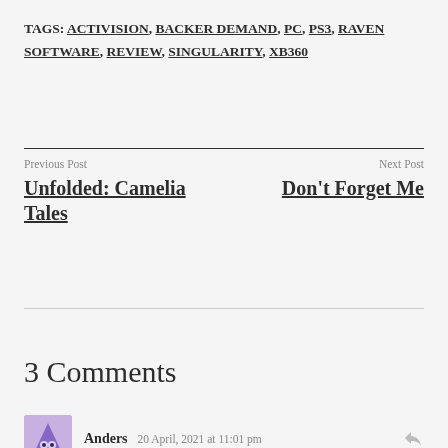TAGS: ACTIVISION, BACKER DEMAND, PC, PS3, RAVEN SOFTWARE, REVIEW, SINGULARITY, XB360
Previous Post
Next Post
Unfolded: Camelia Tales
Don't Forget Me
3 Comments
Anders   20 April, 2021 at 11:01 pm